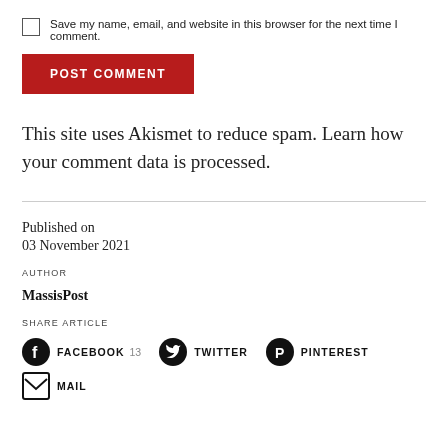Save my name, email, and website in this browser for the next time I comment.
POST COMMENT
This site uses Akismet to reduce spam. Learn how your comment data is processed.
Published on
03 November 2021
AUTHOR
MassisPost
SHARE ARTICLE
FACEBOOK 13  TWITTER  PINTEREST
MAIL